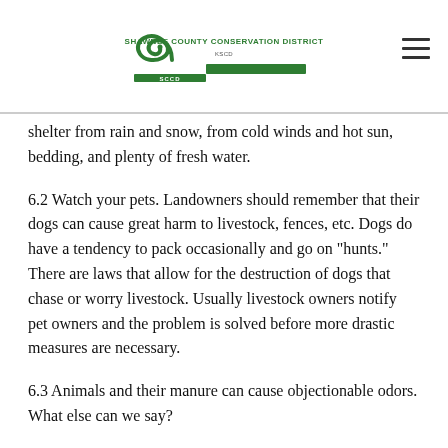SHAWNEE COUNTY CONSERVATION DISTRICT SCCD
shelter from rain and snow, from cold winds and hot sun, bedding, and plenty of fresh water.
6.2 Watch your pets. Landowners should remember that their dogs can cause great harm to livestock, fences, etc. Dogs do have a tendency to pack occasionally and go on "hunts." There are laws that allow for the destruction of dogs that chase or worry livestock. Usually livestock owners notify pet owners and the problem is solved before more drastic measures are necessary.
6.3 Animals and their manure can cause objectionable odors. What else can we say?
6.4 Animals can be dangerous. Bulls, stallions, rams, boars, etc. can attack human beings. Adults and children need to